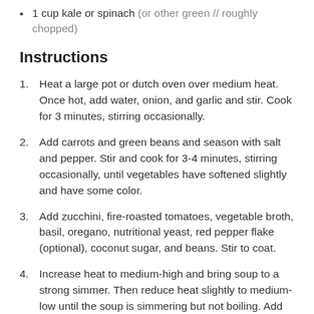1 cup kale or spinach (or other green // roughly chopped)
Instructions
1. Heat a large pot or dutch oven over medium heat. Once hot, add water, onion, and garlic and stir. Cook for 3 minutes, stirring occasionally.
2. Add carrots and green beans and season with salt and pepper. Stir and cook for 3-4 minutes, stirring occasionally, until vegetables have softened slightly and have some color.
3. Add zucchini, fire-roasted tomatoes, vegetable broth, basil, oregano, nutritional yeast, red pepper flake (optional), coconut sugar, and beans. Stir to coat.
4. Increase heat to medium-high and bring soup to a strong simmer. Then reduce heat slightly to medium-low until the soup is simmering but not boiling. Add